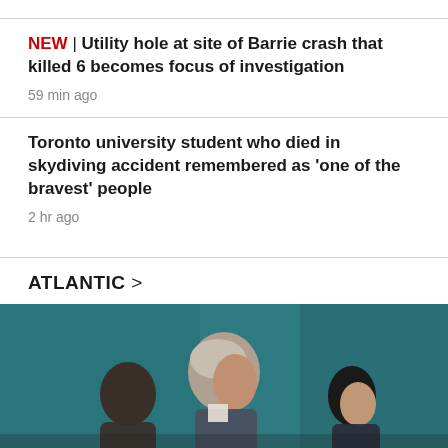NEW | Utility hole at site of Barrie crash that killed 6 becomes focus of investigation
59 min ago
Toronto university student who died in skydiving accident remembered as 'one of the bravest' people
2 hr ago
ATLANTIC >
[Figure (photo): Three people in a formal or government setting against a teal/dark background. A grey-haired man in the center viewed from the side, a person to the left and a dark-haired woman to the right.]